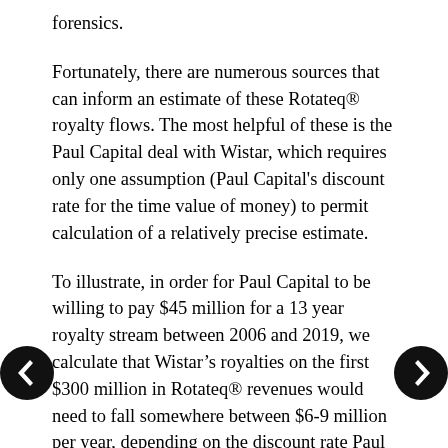forensics.
Fortunately, there are numerous sources that can inform an estimate of these Rotateq® royalty flows. The most helpful of these is the Paul Capital deal with Wistar, which requires only one assumption (Paul Capital's discount rate for the time value of money) to permit calculation of a relatively precise estimate.
To illustrate, in order for Paul Capital to be willing to pay $45 million for a 13 year royalty stream between 2006 and 2019, we calculate that Wistar's royalties on the first $300 million in Rotateq® revenues would need to fall somewhere between $6-9 million per year, depending on the discount rate Paul Capital applied to the future royalties (for the